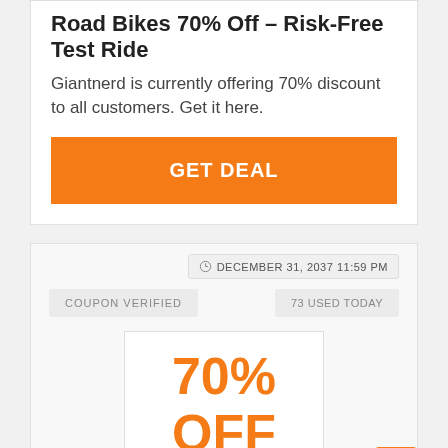Road Bikes 70% Off – Risk Free Test Ride
Giantnerd is currently offering 70% discount to all customers. Get it here.
GET DEAL
DECEMBER 31, 2037 11:59 PM
COUPON VERIFIED
73 USED TODAY
70% OFF